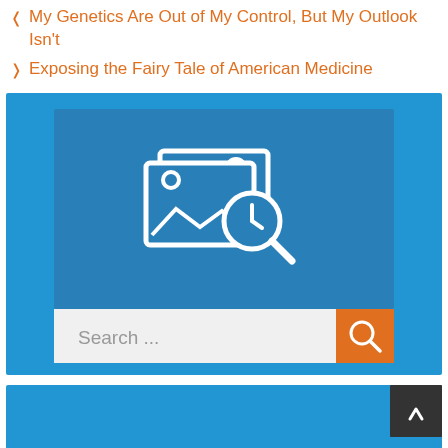< My Genetics Are Out of My Control, But My Outlook Isn't
> Exposing the Fairy Tale of American Medicine
[Figure (screenshot): Blue search widget with image/search icon and a search bar reading 'Search ...' with an orange search button]
[Figure (screenshot): Partial blue widget at bottom with a dark back-to-top button showing an upward caret]